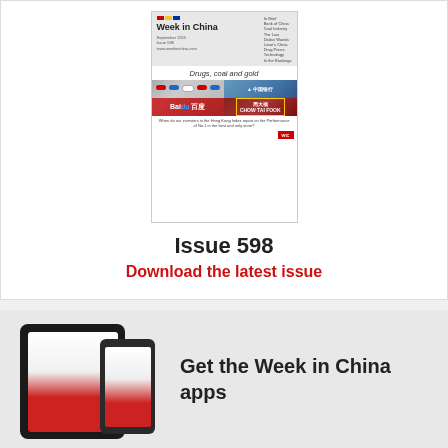[Figure (illustration): Magazine cover of 'Week in China' Issue 598, showing 'Drugs, coal and gold' headline with four photos including pills, a bank building, Baidu logo, and a retail store]
Issue 598
Download the latest issue
[Figure (photo): Tablet and smartphone devices showing the Week in China app]
Get the Week in China apps